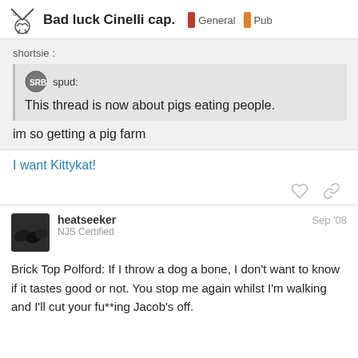Bad luck Cinelli cap. | General | Pub
shortsie :
spud: This thread is now about pigs eating people.
im so getting a pig farm
I want Kittykat!
heatseeker Sep '08 NJS Certified
Brick Top Polford: If I throw a dog a bone, I don't want to know if it tastes good or not. You stop me again whilst I'm walking and I'll cut your fu**ing Jacob's off.